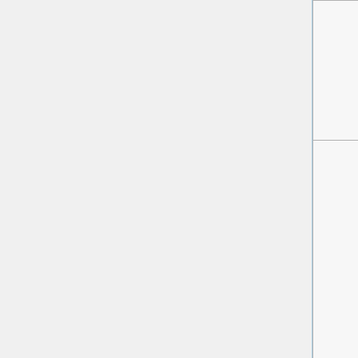| Author | Year | Title |
| --- | --- | --- |
|  |  | Filled Steel Tubular Structures |
| Wakabayashi | 1994 | Steel-Concrete Composite Structures |
|  |  | Proceedings of the Third… |